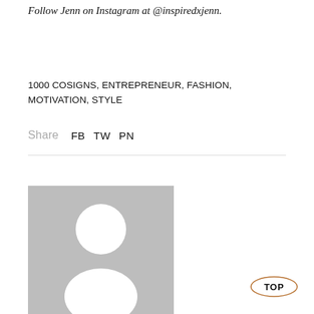Follow Jenn on Instagram at @inspiredxjenn.
1000 COSIGNS, ENTREPRENEUR, FASHION, MOTIVATION, STYLE
Share   FB   TW   PN
[Figure (illustration): Placeholder avatar image: grey square with white silhouette of a person (head and shoulders).]
TOP